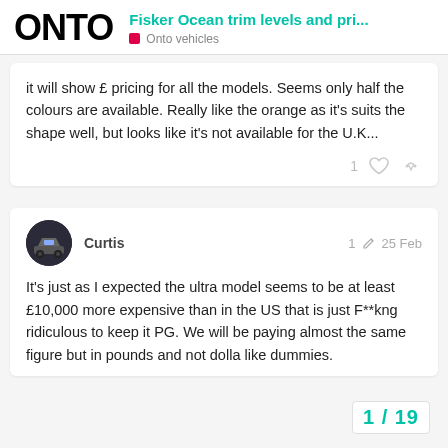ONTO — Fisker Ocean trim levels and pri... — Onto vehicles
it will show £ pricing for all the models. Seems only half the colours are available. Really like the orange as it's suits the shape well, but looks like it's not available for the U.K...
Curtis — 1 — 25 Feb
It's just as I expected the ultra model seems to be at least £10,000 more expensive than in the US that is just F**kng ridiculous to keep it PG. We will be paying almost the same figure but in pounds and not dolla like dummies.
1 / 19